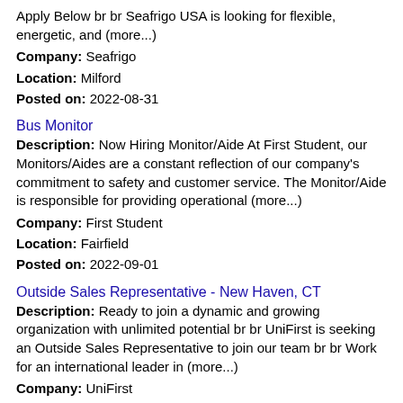Apply Below br br Seafrigo USA is looking for flexible, energetic, and (more...)
Company: Seafrigo
Location: Milford
Posted on: 2022-08-31
Bus Monitor
Description: Now Hiring Monitor/Aide At First Student, our Monitors/Aides are a constant reflection of our company's commitment to safety and customer service. The Monitor/Aide is responsible for providing operational (more...)
Company: First Student
Location: Fairfield
Posted on: 2022-09-01
Outside Sales Representative - New Haven, CT
Description: Ready to join a dynamic and growing organization with unlimited potential br br UniFirst is seeking an Outside Sales Representative to join our team br br Work for an international leader in (more...)
Company: UniFirst
Location: Stratford
Posted on: 2022-09-01
Registered Nurse - Home Care
Description: Full-time Home Care Registered Nurse needed in Connecticut Reference Code: KAM Requirements: Licensed